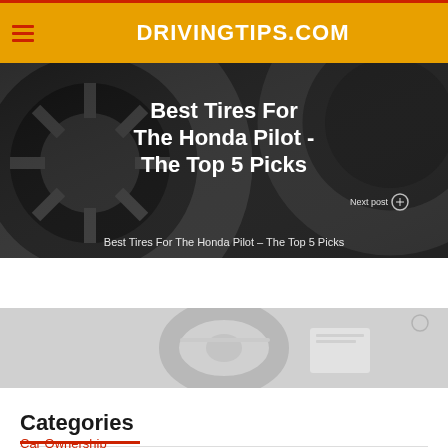DRIVINGTIPS.COM
[Figure (screenshot): Dark background hero image showing a car wheel/tire with white bold text overlay reading 'Best Tires For The Honda Pilot - The Top 5 Picks'. A 'Next post' label with circle icon appears in lower right. Subtitle text at bottom reads 'Best Tires For The Honda Pilot – The Top 5 Picks'.]
[Figure (photo): Greyscale/faded image showing part of a car interior or emblem, partially visible strip.]
Categories
Car Ownership